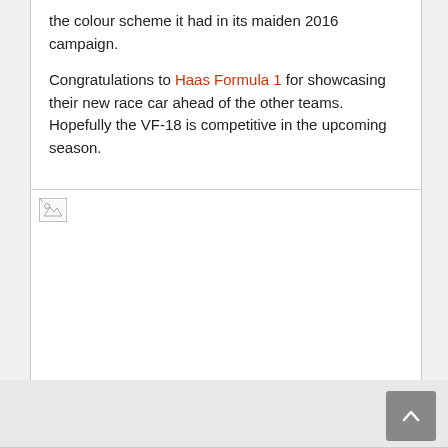the colour scheme it had in its maiden 2016 campaign.
Congratulations to Haas Formula 1 for showcasing their new race car ahead of the other teams. Hopefully the VF-18 is competitive in the upcoming season.
[Figure (photo): Broken image placeholder (image failed to load) — large white rectangle with broken image icon in top-left corner]